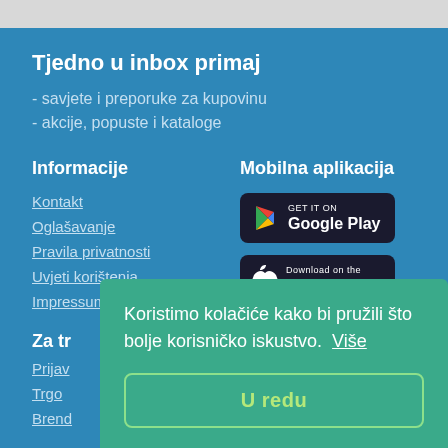Tjedno u inbox primaj
- savjete i preporuke za kupovinu
- akcije, popuste i kataloge
Informacije
Mobilna aplikacija
Kontakt
Oglašavanje
Pravila privatnosti
Uvjeti korištenja
Impressum
[Figure (screenshot): Google Play store badge]
[Figure (screenshot): Apple App Store badge]
Za tr...
Prijav...
Trgo...
Brend...
Koristimo kolačiće kako bi pružili što bolje korisničko iskustvo.  Više
U redu